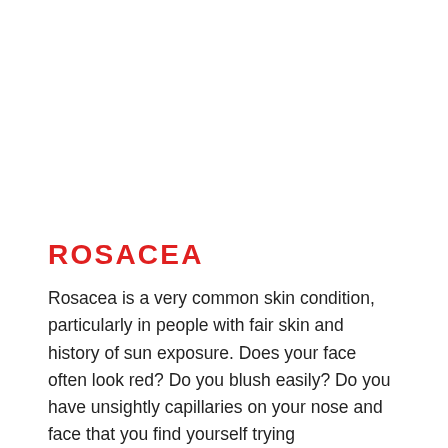ROSACEA
Rosacea is a very common skin condition, particularly in people with fair skin and history of sun exposure. Does your face often look red? Do you blush easily? Do you have unsightly capillaries on your nose and face that you find yourself trying